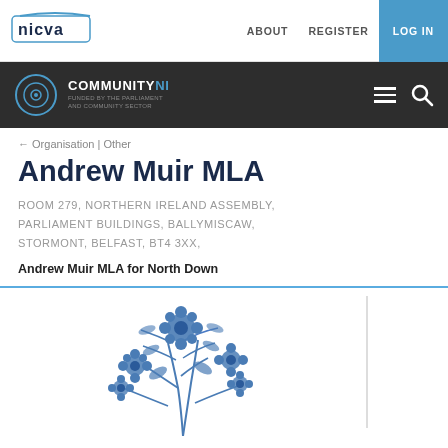NICVA | ABOUT | REGISTER | LOG IN
COMMUNITY NI
Organisation | Other
Andrew Muir MLA
ROOM 279, NORTHERN IRELAND ASSEMBLY, PARLIAMENT BUILDINGS, BALLYMISCAW, STORMONT, BELFAST, BT4 3XX,
Andrew Muir MLA for North Down
[Figure (illustration): Floral illustration with blue flowers and leaves, partial view at bottom of page]